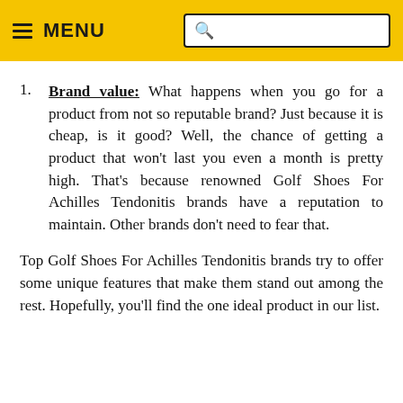MENU [search box]
Brand value: What happens when you go for a product from not so reputable brand? Just because it is cheap, is it good? Well, the chance of getting a product that won't last you even a month is pretty high. That's because renowned Golf Shoes For Achilles Tendonitis brands have a reputation to maintain. Other brands don't need to fear that.
Top Golf Shoes For Achilles Tendonitis brands try to offer some unique features that make them stand out among the rest. Hopefully, you'll find the one ideal product in our list.